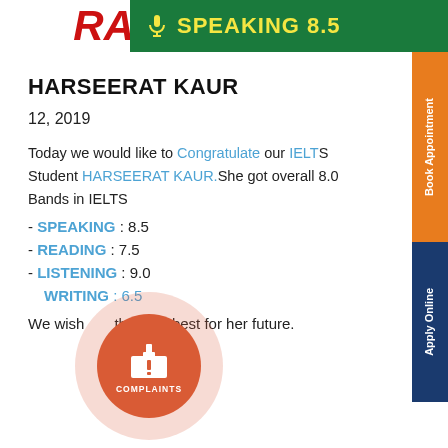SPEAKING 8.5
HARSEERAT KAUR
12, 2019
Today we would like to Congratulate our IELTS Student HARSEERAT KAUR.She got overall 8.0 Bands in IELTS
- SPEAKING : 8.5
- READING : 7.5
- LISTENING : 9.0
WRITING : 6.5
We wish the very best for her future.
[Figure (illustration): Complaints box icon — orange circular badge with ballot box and exclamation mark, labeled COMPLAINTS]